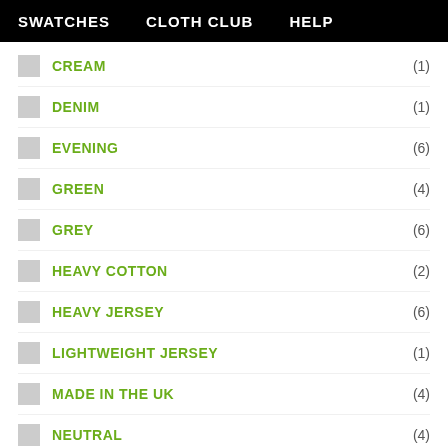SWATCHES   CLOTH CLUB   HELP
CREAM (1)
DENIM (1)
EVENING (6)
GREEN (4)
GREY (6)
HEAVY COTTON (2)
HEAVY JERSEY (6)
LIGHTWEIGHT JERSEY (1)
MADE IN THE UK (4)
NEUTRAL (4)
ORANGE
PATTERN